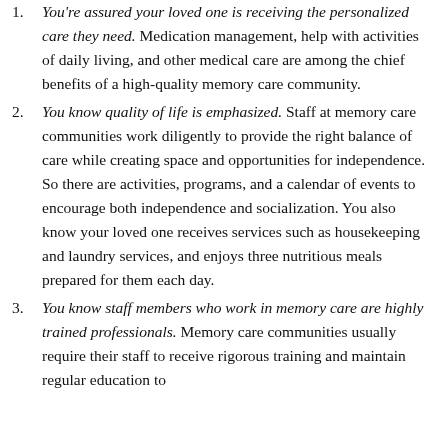1. You're assured your loved one is receiving the personalized care they need. Medication management, help with activities of daily living, and other medical care are among the chief benefits of a high-quality memory care community.
2. You know quality of life is emphasized. Staff at memory care communities work diligently to provide the right balance of care while creating space and opportunities for independence. So there are activities, programs, and a calendar of events to encourage both independence and socialization. You also know your loved one receives services such as housekeeping and laundry services, and enjoys three nutritious meals prepared for them each day.
3. You know staff members who work in memory care are highly trained professionals. Memory care communities usually require their staff to receive rigorous training and maintain regular education to